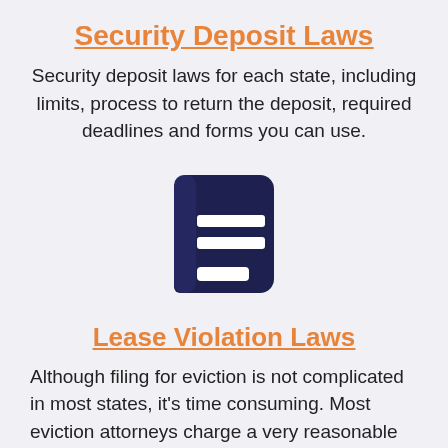Security Deposit Laws
Security deposit laws for each state, including limits, process to return the deposit, required deadlines and forms you can use.
[Figure (illustration): Dark navy blue book icon with two white horizontal lines on the cover, representing a document or legal reference book.]
Lease Violation Laws
Although filing for eviction is not complicated in most states, it's time consuming. Most eviction attorneys charge a very reasonable